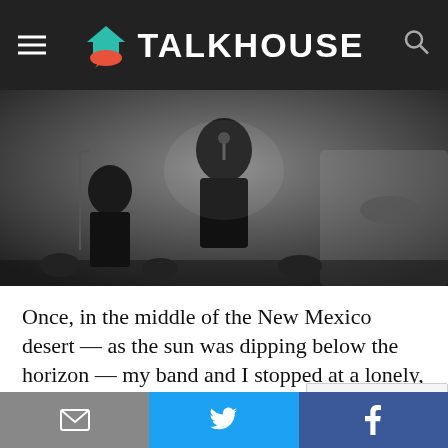TALKHOUSE
[Figure (photo): Black and white concert photo showing a band performing on stage, singer holding microphone in foreground]
Once, in the middle of the New Mexico desert — as the sun was dipping below the horizon — my band and I stopped at a lonely, surprised-it-was-even-open, post-
Privacy & Cookies: This site uses cookies. By continuing to use this website, you agree to their use.
To find out more, including how to control cookies, see here: Cookie Policy
Email | Twitter | Facebook